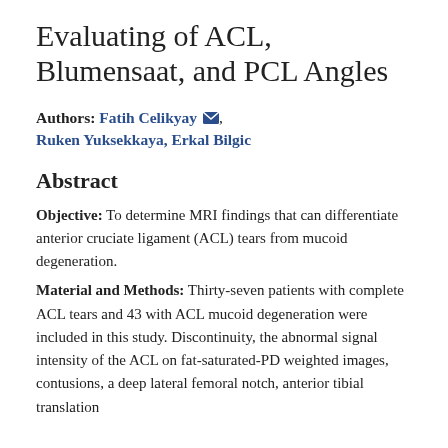Evaluating of ACL, Blumensaat, and PCL Angles
Authors: Fatih Celikyay, Ruken Yuksekkaya, Erkal Bilgic
Abstract
Objective: To determine MRI findings that can differentiate anterior cruciate ligament (ACL) tears from mucoid degeneration. Material and Methods: Thirty-seven patients with complete ACL tears and 43 with ACL mucoid degeneration were included in this study. Discontinuity, the abnormal signal intensity of the ACL on fat-saturated-PD weighted images, contusions, a deep lateral femoral notch, anterior tibial translation